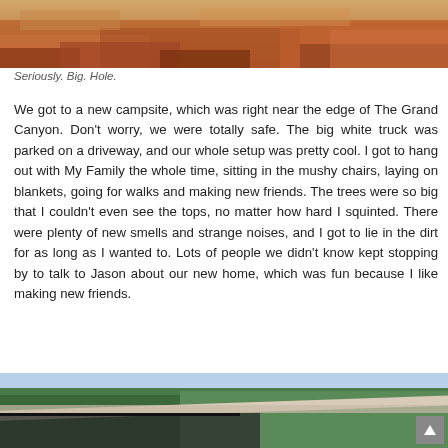[Figure (photo): Partial view of a red/orange rocky canyon landscape, cropped at top of page]
Seriously. Big. Hole.
We got to a new campsite, which was right near the edge of The Grand Canyon. Don't worry, we were totally safe. The big white truck was parked on a driveway, and our whole setup was pretty cool. I got to hang out with My Family the whole time, sitting in the mushy chairs, laying on blankets, going for walks and making new friends. The trees were so big that I couldn't even see the tops, no matter how hard I squinted. There were plenty of new smells and strange noises, and I got to lie in the dirt for as long as I wanted to. Lots of people we didn't know kept stopping by to talk to Jason about our new home, which was fun because I like making new friends.
[Figure (photo): Partial view of a structure with an overhanging roof/awning against green trees and sky, cropped at bottom of page]